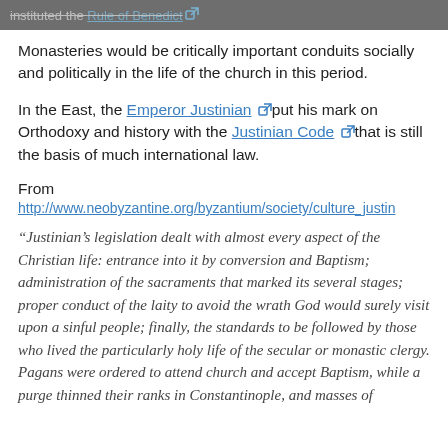instituted the Rule of Benedict [external link]
Monasteries would be critically important conduits socially and politically in the life of the church in this period.
In the East, the Emperor Justinian [external link] put his mark on Orthodoxy and history with the Justinian Code [external link] that is still the basis of much international law.
From
http://www.neobyzantine.org/byzantium/society/culture_justi...
“Justinian’s legislation dealt with almost every aspect of the Christian life: entrance into it by conversion and Baptism; administration of the sacraments that marked its several stages; proper conduct of the laity to avoid the wrath God would surely visit upon a sinful people; finally, the standards to be followed by those who lived the particularly holy life of the secular or monastic clergy. Pagans were ordered to attend church and accept Baptism, while a purge thinned their ranks in Constantinople, and masses of